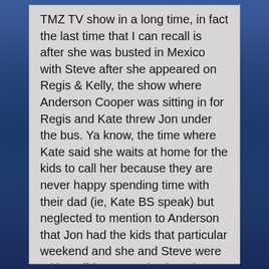TMZ TV show in a long time, in fact the last time that I can recall is after she was busted in Mexico with Steve after she appeared on Regis & Kelly, the show where Anderson Cooper was sitting in for Regis and Kate threw Jon under the bus. Ya know, the time where Kate said she waits at home for the kids to call her because they are never happy spending time with their dad (ie, Kate BS speak) but neglected to mention to Anderson that Jon had the kids that particular weekend and she and Steve were taking off for a People shoot in Mexico.
Anyway, I'm convinced that Harvey does not like Kate, he figured out long ago that her 15 minutes was up long ago and does not give her exposure on his show. However I have seen small blurbs -- not big stories but little blurbs -- about Kate (maybe 3) in the past year on the TMZ web site.
Oh, and I did giggle -- Kate is now a has been but she has a job being a spokesperson for this coupon company but yet does not say anything other than "yep" when she is on camera and asked a direct